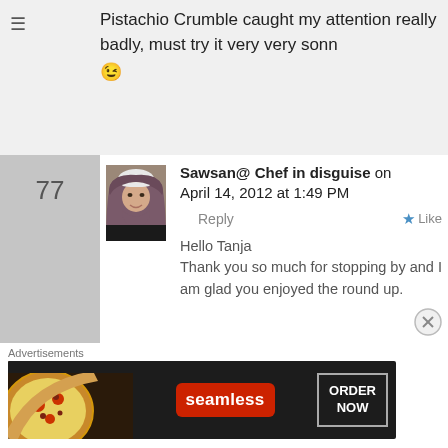Pistachio Crumble caught my attention really badly, must try it very very sonn 😉
77
[Figure (photo): Avatar photo of Sawsan, a woman wearing a hijab, smiling]
Sawsan@ Chef in disguise on April 14, 2012 at 1:49 PM
Reply
Like
Hello Tanja
Thank you so much for stopping by and I am glad you enjoyed the round up.
Advertisements
[Figure (screenshot): Seamless food delivery advertisement banner with pizza image, Seamless logo in red, and ORDER NOW button]